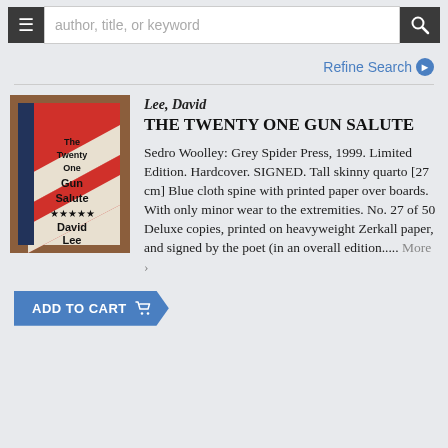author, title, or keyword
Refine Search
[Figure (photo): Book cover of 'The Twenty One Gun Salute' by David Lee, with red and white diagonal stripe design and blue cloth spine, with stars]
Lee, David
THE TWENTY ONE GUN SALUTE
Sedro Woolley: Grey Spider Press, 1999. Limited Edition. Hardcover. SIGNED. Tall skinny quarto [27 cm] Blue cloth spine with printed paper over boards. With only minor wear to the extremities. No. 27 of 50 Deluxe copies, printed on heavyweight Zerkall paper, and signed by the poet (in an overall edition..... More >
ADD TO CART